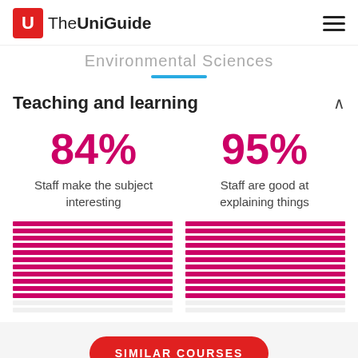The UniGuide
Environmental Sciences
Teaching and learning
84% Staff make the subject interesting
95% Staff are good at explaining things
[Figure (infographic): Two striped magenta/pink bar indicators showing 84% and 95% satisfaction stats]
SIMILAR COURSES